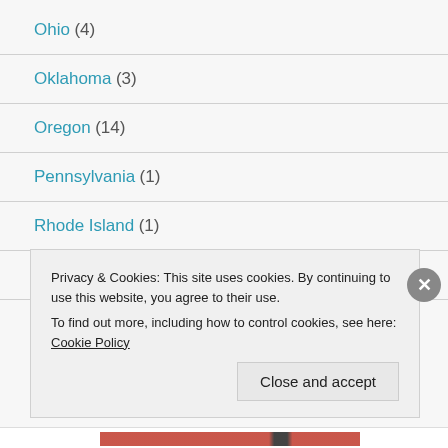Ohio (4)
Oklahoma (3)
Oregon (14)
Pennsylvania (1)
Rhode Island (1)
South Carolina (3)
Privacy & Cookies: This site uses cookies. By continuing to use this website, you agree to their use. To find out more, including how to control cookies, see here: Cookie Policy